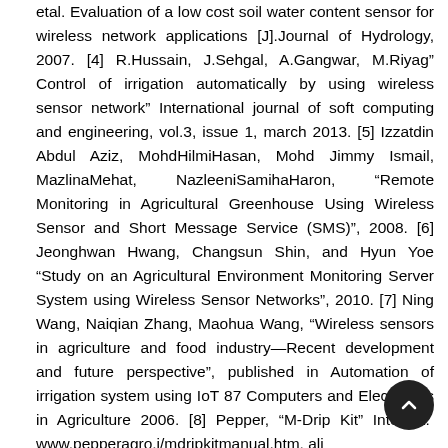etal. Evaluation of a low cost soil water content sensor for wireless network applications [J].Journal of Hydrology, 2007. [4] R.Hussain, J.Sehgal, A.Gangwar, M.Riyag" Control of irrigation automatically by using wireless sensor network" International journal of soft computing and engineering, vol.3, issue 1, march 2013. [5] Izzatdin Abdul Aziz, MohdHilmiHasan, Mohd Jimmy Ismail, MazlinaMehat, NazleeniSamihaHaron, "Remote Monitoring in Agricultural Greenhouse Using Wireless Sensor and Short Message Service (SMS)", 2008. [6] Jeonghwan Hwang, Changsun Shin, and Hyun Yoe "Study on an Agricultural Environment Monitoring Server System using Wireless Sensor Networks", 2010. [7] Ning Wang, Naiqian Zhang, Maohua Wang, "Wireless sensors in agriculture and food industry—Recent development and future perspective", published in Automation of irrigation system using IoT 87 Computers and Electronics in Agriculture 2006. [8] Pepper, "M-Drip Kit" Internet: www.pepperagro.i/mdripkitmanual.htm, ali